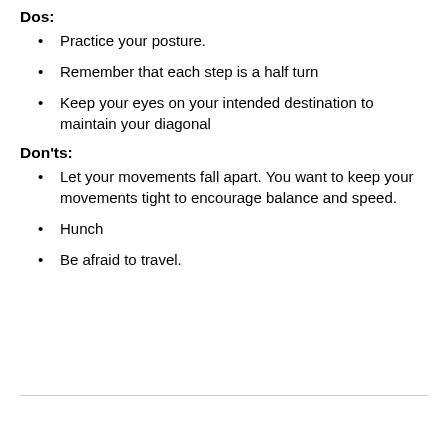Dos:
Practice your posture.
Remember that each step is a half turn
Keep your eyes on your intended destination to maintain your diagonal
Don'ts:
Let your movements fall apart. You want to keep your movements tight to encourage balance and speed.
Hunch
Be afraid to travel.